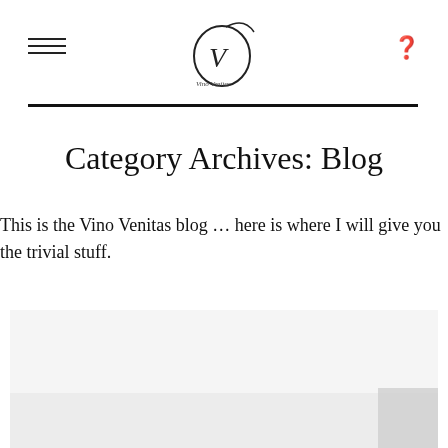Vino Venitas blog header with hamburger menu, logo, and search icon
Category Archives: Blog
This is the Vino Venitas blog … here is where I will give you the trivial stuff.
[Figure (photo): Blog post featured image placeholder with light gray background]